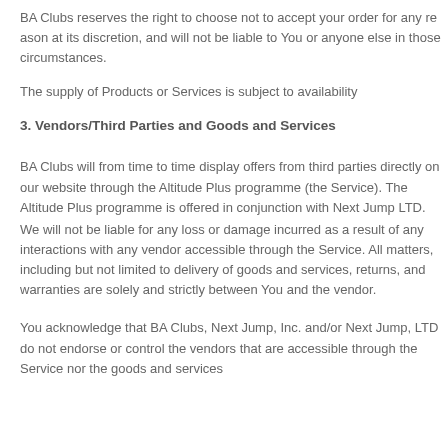BA Clubs reserves the right to choose not to accept your order for any reason at its discretion, and will not be liable to You or anyone else in those circumstances.
The supply of Products or Services is subject to availability
3. Vendors/Third Parties and Goods and Services
BA Clubs will from time to time display offers from third parties directly on our website through the Altitude Plus programme (the Service). The Altitude Plus programme is offered in conjunction with Next Jump LTD.
We will not be liable for any loss or damage incurred as a result of any interactions with any vendor accessible through the Service. All matters, including but not limited to delivery of goods and services, returns, and warranties are solely and strictly between You and the vendor.
You acknowledge that BA Clubs, Next Jump, Inc. and/or Next Jump, LTD do not endorse or control the vendors that are accessible through the Service nor the goods and services they provide.